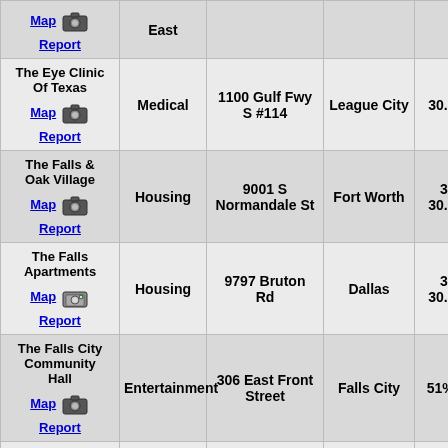| Name | Category | Address | City | Sign |
| --- | --- | --- | --- | --- |
| [Map] [photo] Report | East |  |  |  |
| The Eye Clinic Of Texas
Map [photo] Report | Medical | 1100 Gulf Fwy S #114 | League City | 30.07 Sig |
| The Falls & Oak Village
Map [photo] Report | Housing | 9001 S Normandale St | Fort Worth | 30.06 & 30.07 Sig |
| The Falls Apartments
Map [photo] Report | Housing | 9797 Bruton Rd | Dallas | 30.06 & 30.07 Sig |
| The Falls City Community Hall
Map [photo] Report | Entertainment | 306 East Front Street | Falls City | 51% Sign |
| The Farmhouse
Map [photo] | Entertainment | 27135 Old Highway 105 W | Montgomery | 51% Sign |